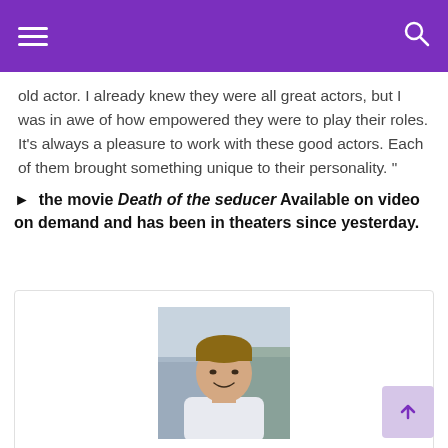Navigation bar with hamburger menu and search icon
old actor. I already knew they were all great actors, but I was in awe of how empowered they were to play their roles. It's always a pleasure to work with these good actors. Each of them brought something unique to their personality. "
► the movie Death of the seducer Available on video on demand and has been in theaters since yesterday.
[Figure (photo): Portrait photo of Tony Vaughn, a young man in a white shirt, smiling, against a blurred background]
Tony Vaughn
"Total creator. Evil zombie fan. Food evangelist. Alcohol practitioner. Web aficionado. Passionate beer advocate."